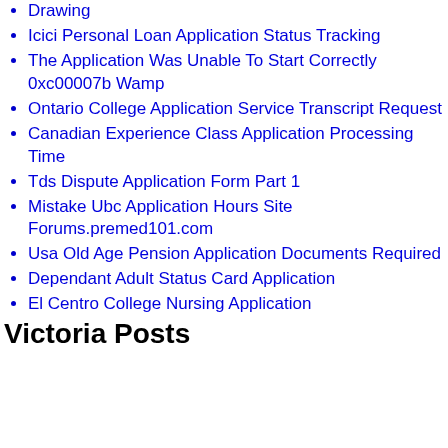Drawing
Icici Personal Loan Application Status Tracking
The Application Was Unable To Start Correctly 0xc00007b Wamp
Ontario College Application Service Transcript Request
Canadian Experience Class Application Processing Time
Tds Dispute Application Form Part 1
Mistake Ubc Application Hours Site Forums.premed101.com
Usa Old Age Pension Application Documents Required
Dependant Adult Status Card Application
El Centro College Nursing Application
Victoria Posts